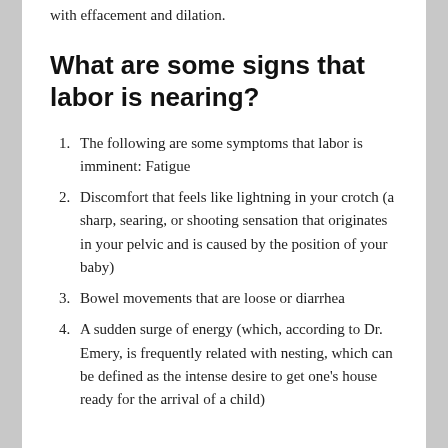with effacement and dilation.
What are some signs that labor is nearing?
The following are some symptoms that labor is imminent: Fatigue
Discomfort that feels like lightning in your crotch (a sharp, searing, or shooting sensation that originates in your pelvic and is caused by the position of your baby)
Bowel movements that are loose or diarrhea
A sudden surge of energy (which, according to Dr. Emery, is frequently related with nesting, which can be defined as the intense desire to get one's house ready for the arrival of a child)